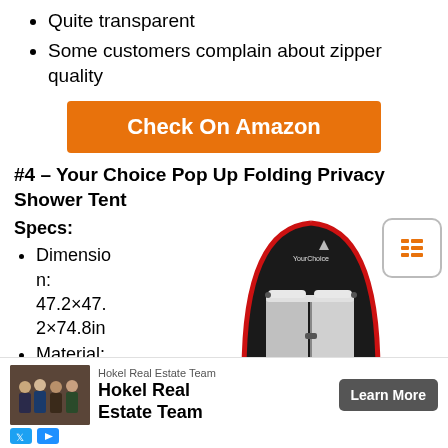Quite transparent
Some customers complain about zipper quality
[Figure (other): Orange 'Check On Amazon' button]
#4 – Your Choice Pop Up Folding Privacy Shower Tent
Specs:
Dimension: 47.2×47.2×74.8in
Material:
[Figure (photo): Your Choice Pop Up Folding Privacy Shower Tent product image, black with red trim]
[Figure (other): Table of contents icon button, rounded square with list lines]
[Figure (other): Advertisement banner: Hokel Real Estate Team with photo and Learn More button]